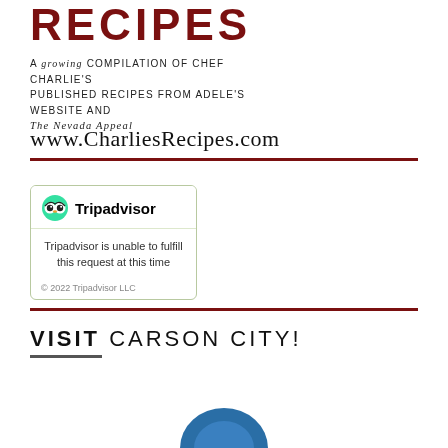RECIPES
A growing compilation of Chef Charlie's published recipes from Adele's website and The Nevada Appeal
www.CharliesRecipes.com
[Figure (screenshot): Tripadvisor widget showing error message: 'Tripadvisor is unable to fulfill this request at this time' with owl logo and © 2022 Tripadvisor LLC copyright notice]
VISIT CARSON CITY!
[Figure (logo): Partial blue dome/building logo at bottom of page]